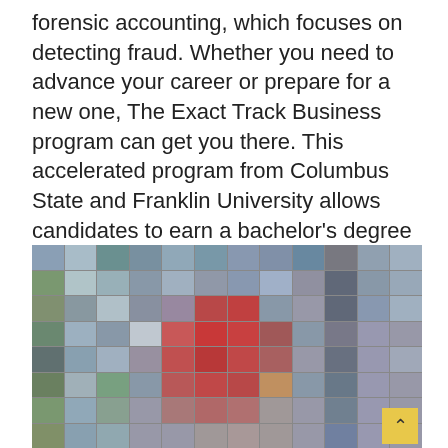forensic accounting, which focuses on detecting fraud. Whether you need to advance your career or prepare for a new one, The Exact Track Business program can get you there. This accelerated program from Columbus State and Franklin University allows candidates to earn a bachelor's degree in less than 4 years.
[Figure (photo): A mosaic grid of microscopy or abstract image thumbnails arranged in rows and columns, featuring a mix of blue-gray, teal, green, and red-toned image patches, with a prominent reddish cluster near the center.]